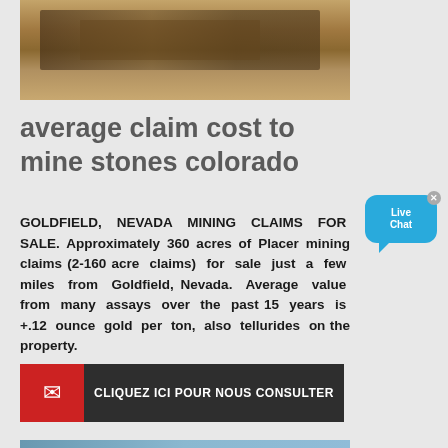[Figure (photo): Mining equipment and industrial machinery at an outdoor mining site, with conveyors and structures visible against a sandy/arid landscape.]
average claim cost to mine stones colorado
GOLDFIELD, NEVADA MINING CLAIMS FOR SALE. Approximately 360 acres of Placer mining claims (2-160 acre claims) for sale just a few miles from Goldfield, Nevada. Average value from many assays over the past 15 years is +.12 ounce gold per ton, also tellurides on the property.
[Figure (other): Live Chat widget bubble in cyan/blue with 'Live Chat' text and an X close button]
CLIQUEZ ICI POUR NOUS CONSULTER
[Figure (photo): Partial view of a mining or industrial site with crane equipment and blue structures.]